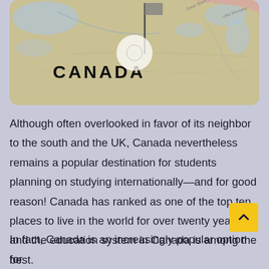[Figure (photo): A photograph of a physical map showing Canada with a pin/flag marker placed on it. The word CANADA is visible in bold black text on the map.]
Although often overlooked in favor of its neighbor to the south and the UK, Canada nevertheless remains a popular destination for students planning on studying internationally—and for good reason! Canada has ranked as one of the top ten places to live in the world for over twenty years, and the education system in Canada is among the best.
In fact, Canada is an increasingly popular option for